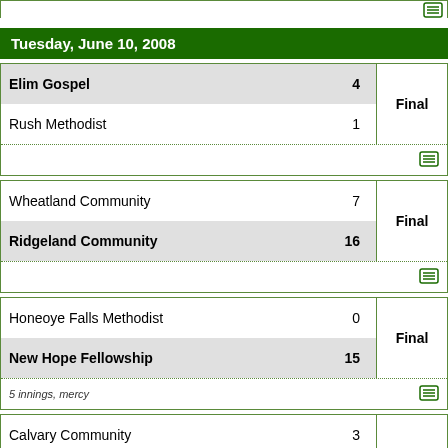Tuesday, June 10, 2008
| Team | Score | Status |
| --- | --- | --- |
| Elim Gospel | 4 | Final |
| Rush Methodist | 1 |  |
| Team | Score | Status |
| --- | --- | --- |
| Wheatland Community | 7 | Final |
| Ridgeland Community | 16 |  |
| Team | Score | Status |
| --- | --- | --- |
| Honeoye Falls Methodist | 0 | Final |
| New Hope Fellowship | 15 |  |
5 innings, mercy
| Team | Score | Status |
| --- | --- | --- |
| Calvary Community | 3 | Final |
| Good Shepherd | 11 |  |